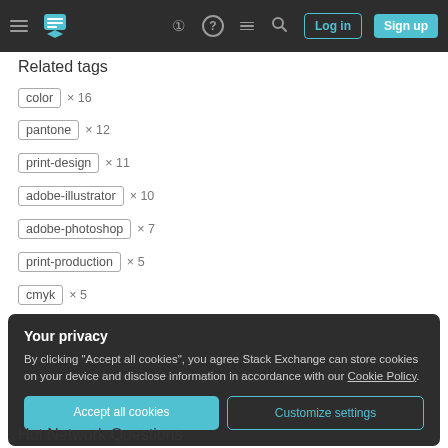Stack Exchange navigation bar with hamburger menu, logo, help, chat, search icons, Log in and Sign up buttons
Related tags
color × 16
pantone × 12
print-design × 11
adobe-illustrator × 10
adobe-photoshop × 7
print-production × 5
cmyk × 5
Your privacy
By clicking "Accept all cookies", you agree Stack Exchange can store cookies on your device and disclose information in accordance with our Cookie Policy.
Accept all cookies   Customize settings
Hot Network Questions